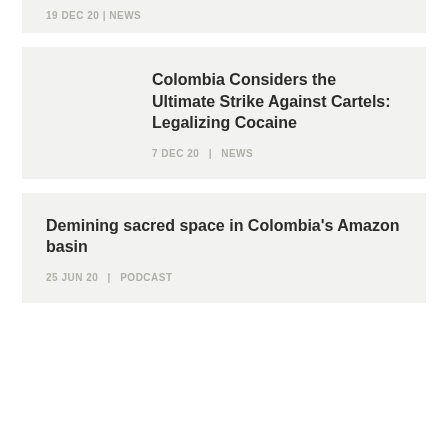19 DEC 20 | NEWS
Colombia Considers the Ultimate Strike Against Cartels: Legalizing Cocaine
7 DEC 20 | NEWS
Demining sacred space in Colombia's Amazon basin
25 JUN 20 | PODCAST